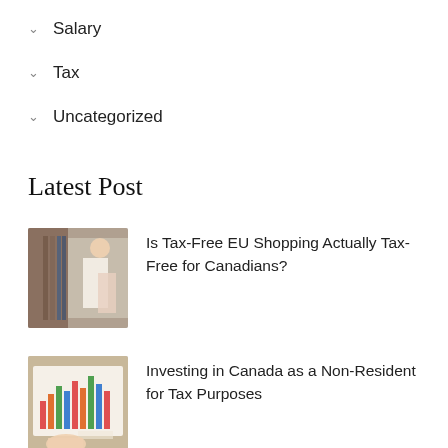Salary
Tax
Uncategorized
Latest Post
[Figure (photo): Person browsing clothes on a rack]
Is Tax-Free EU Shopping Actually Tax-Free for Canadians?
[Figure (photo): Hand pointing at bar chart on paper]
Investing in Canada as a Non-Resident for Tax Purposes
[Figure (photo): Partially visible image at bottom]